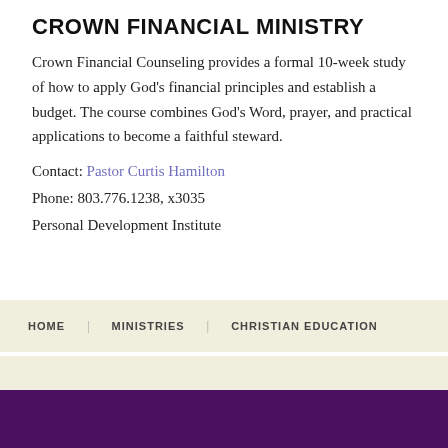CROWN FINANCIAL MINISTRY
Crown Financial Counseling provides a formal 10-week study of how to apply God's financial principles and establish a budget. The course combines God's Word, prayer, and practical applications to become a faithful steward.
Contact: Pastor Curtis Hamilton
Phone: 803.776.1238, x3035
Personal Development Institute
HOME | MINISTRIES | CHRISTIAN EDUCATION